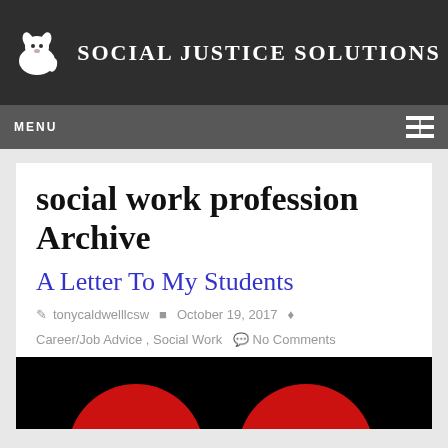Social Justice Solutions
social work profession Archive
A Letter To My Students
tonycaldwelllcsw   October 19, 2017
Career/Job Advice , Social Work   No Comments
[Figure (photo): Partial image with black background and two red circular shapes visible at the bottom]